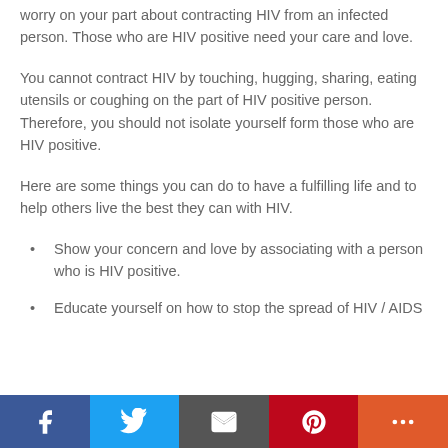worry on your part about contracting HIV from an infected person. Those who are HIV positive need your care and love.
You cannot contract HIV by touching, hugging, sharing, eating utensils or coughing on the part of HIV positive person. Therefore, you should not isolate yourself form those who are HIV positive.
Here are some things you can do to have a fulfilling life and to help others live the best they can with HIV.
Show your concern and love by associating with a person who is HIV positive.
Educate yourself on how to stop the spread of HIV / AIDS
Social share bar: Facebook, Twitter, Email, Pinterest, More